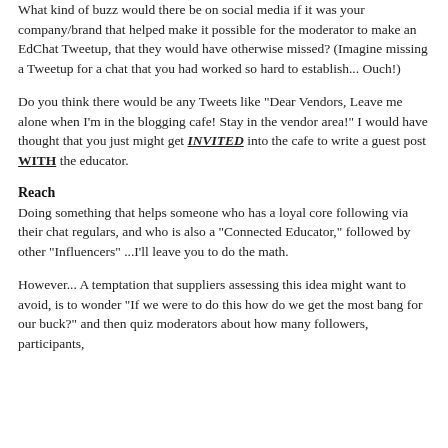What kind of buzz would there be on social media if it was your company/brand that helped make it possible for the moderator to make an EdChat Tweetup, that they would have otherwise missed? (Imagine missing a Tweetup for a chat that you had worked so hard to establish... Ouch!)
Do you think there would be any Tweets like "Dear Vendors, Leave me alone when I'm in the blogging cafe! Stay in the vendor area!" I would have thought that you just might get INVITED into the cafe to write a guest post WITH the educator.
Reach
Doing something that helps someone who has a loyal core following via their chat regulars, and who is also a "Connected Educator," followed by other "Influencers" ...I'll leave you to do the math.
However... A temptation that suppliers assessing this idea might want to avoid, is to wonder "If we were to do this how do we get the most bang for our buck?" and then quiz moderators about how many followers, participants, impressions etc. that they get the most of their investment...